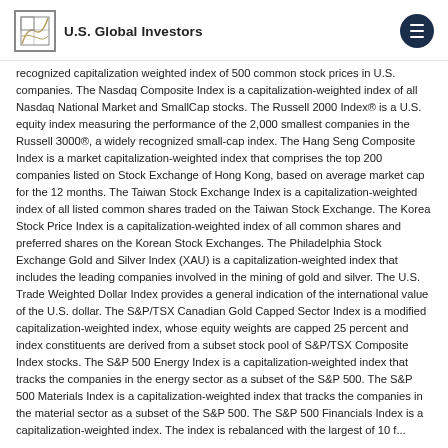U.S. Global Investors
recognized capitalization weighted index of 500 common stock prices in U.S. companies. The Nasdaq Composite Index is a capitalization-weighted index of all Nasdaq National Market and SmallCap stocks. The Russell 2000 Index® is a U.S. equity index measuring the performance of the 2,000 smallest companies in the Russell 3000®, a widely recognized small-cap index. The Hang Seng Composite Index is a market capitalization-weighted index that comprises the top 200 companies listed on Stock Exchange of Hong Kong, based on average market cap for the 12 months. The Taiwan Stock Exchange Index is a capitalization-weighted index of all listed common shares traded on the Taiwan Stock Exchange. The Korea Stock Price Index is a capitalization-weighted index of all common shares and preferred shares on the Korean Stock Exchanges. The Philadelphia Stock Exchange Gold and Silver Index (XAU) is a capitalization-weighted index that includes the leading companies involved in the mining of gold and silver. The U.S. Trade Weighted Dollar Index provides a general indication of the international value of the U.S. dollar. The S&P/TSX Canadian Gold Capped Sector Index is a modified capitalization-weighted index, whose equity weights are capped 25 percent and index constituents are derived from a subset stock pool of S&P/TSX Composite Index stocks. The S&P 500 Energy Index is a capitalization-weighted index that tracks the companies in the energy sector as a subset of the S&P 500. The S&P 500 Materials Index is a capitalization-weighted index that tracks the companies in the material sector as a subset of the S&P 500. The S&P 500 Financials Index is a capitalization-weighted index. The index is rebalanced with the largest of 10 f...